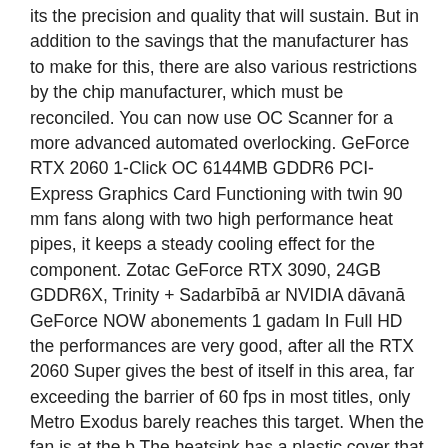its the precision and quality that will sustain. But in addition to the savings that the manufacturer has to make for this, there are also various restrictions by the chip manufacturer, which must be reconciled. You can now use OC Scanner for a more advanced automated overlocking. GeForce RTX 2060 1-Click OC 6144MB GDDR6 PCI-Express Graphics Card Functioning with twin 90 mm fans along with two high performance heat pipes, it keeps a steady cooling effect for the component. Zotac GeForce RTX 3090, 24GB GDDR6X, Trinity + Sadarbībā ar NVIDIA dāvanā GeForce NOW abonements 1 gadam In Full HD the performances are very good, after all the RTX 2060 Super gives the best of itself in this area, far exceeding the barrier of 60 fps in most titles, only Metro Exodus barely reaches this target. When the fan is at the b The heatsink has a plastic cover that wraps two 90mm fans with technology 0 db. The objective of the RTX 2060 Super 1-Click OC is not this, moreover, and it is immediately clear from the heatsink, of small dimensions, which does not allow to push the frequencies too high. Professional Blogger, V logger, traveler and explorer of new horizons. DirectX Add to watch list. The video connectors are limited, we find in fact an HDMI, a Display Port and a DVI,